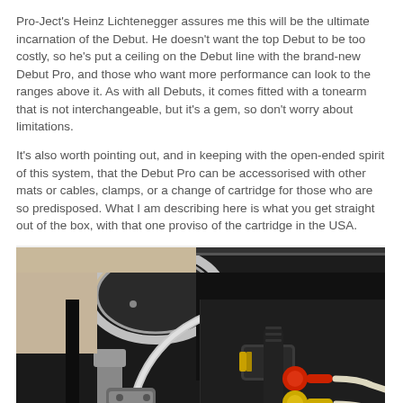Pro-Ject's Heinz Lichtenegger assures me this will be the ultimate incarnation of the Debut. He doesn't want the top Debut to be too costly, so he's put a ceiling on the Debut line with the brand-new Debut Pro, and those who want more performance can look to the ranges above it. As with all Debuts, it comes fitted with a tonearm that is not interchangeable, but it's a gem, so don't worry about limitations.
It's also worth pointing out, and in keeping with the open-ended spirit of this system, that the Debut Pro can be accessorised with other mats or cables, clamps, or a change of cartridge for those who are so predisposed. What I am describing here is what you get straight out of the box, with that one proviso of the cartridge in the USA.
[Figure (photo): Close-up photograph of a Pro-Ject Debut Pro turntable showing the tonearm base with silver curved arm tube, black plinth/platter area, RCA connectors with red and yellow connectors, and gold-ringed connection hardware.]